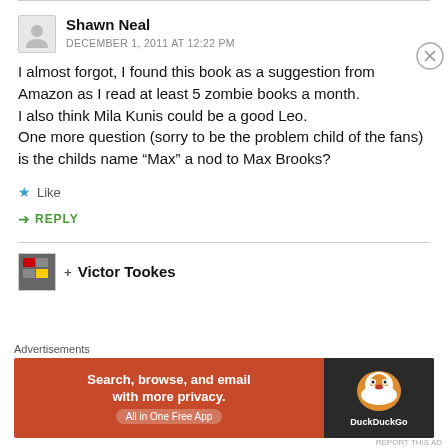Shawn Neal
DECEMBER 1, 2011 AT 12:22 PM
I almost forgot, I found this book as a suggestion from Amazon as I read at least 5 zombie books a month.
I also think Mila Kunis could be a good Leo.
One more question (sorry to be the problem child of the fans) is the childs name “Max” a nod to Max Brooks?
Like
REPLY
+ Victor Tookes
[Figure (infographic): DuckDuckGo advertisement banner: orange background with text 'Search, browse, and email with more privacy. All in One Free App', dark sidebar with DuckDuckGo duck logo and brand name.]